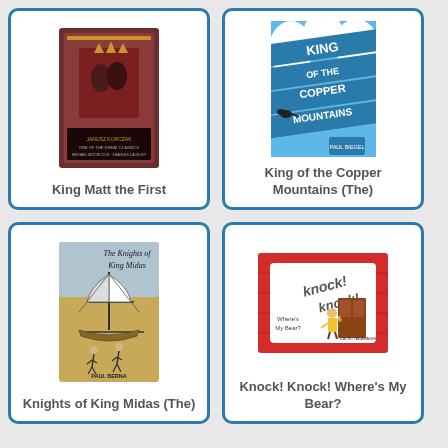[Figure (illustration): Book cover of 'King Matt the First' - dark reddish-brown ornate cover with royal figures]
King Matt the First
[Figure (illustration): Book cover of 'King of the Copper Mountains (The)' - blue cover with large stylized text]
King of the Copper Mountains (The)
[Figure (illustration): Book cover of 'The Knights of King Midas' by Paul Berna - beige/tan cover with sailing ship illustration]
Knights of King Midas (The)
[Figure (illustration): Book cover of 'Knock! Knock! Where's My Bear?' - red brick border with white center, child knocking on door]
Knock! Knock! Where's My Bear?